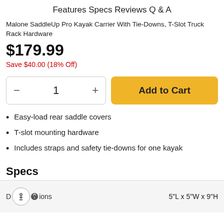Features  Specs  Reviews  Q & A
Malone SaddleUp Pro Kayak Carrier With Tie-Downs, T-Slot Truck Rack Hardware
$179.99
Save $40.00 (18% Off)
1  Add to Cart
Easy-load rear saddle covers
T-slot mounting hardware
Includes straps and safety tie-downs for one kayak
Specs
|  |  |
| --- | --- |
| D[ims]ions | 5"L x 5"W x 9"H |